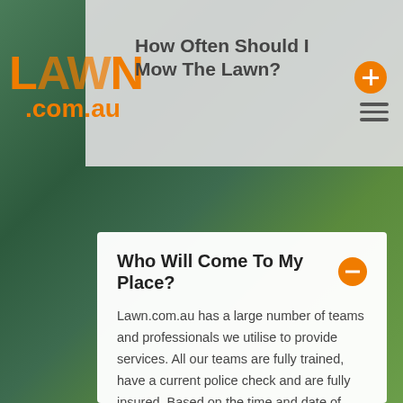How Often Should I Mow The Lawn?
[Figure (logo): Lawn.com.au orange logo with large stylized text]
Who Will Come To My Place?
Lawn.com.au has a large number of teams and professionals we utilise to provide services. All our teams are fully trained, have a current police check and are fully insured. Based on the time and date of your request, we work to assign the best professional available. If you jump on a recurring service, then we will do our absolute best to ensure that you have the same team every time. This